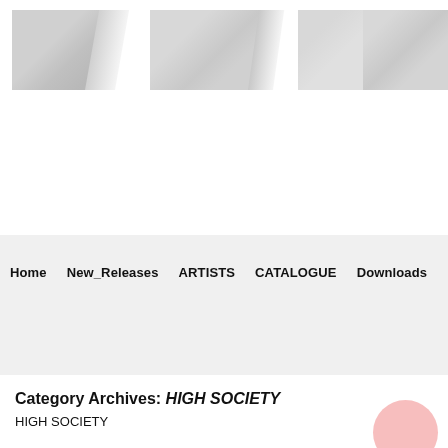[Figure (illustration): Website header banner with diagonal slash/stripe graphic elements in light gray tones, resembling a logo or masthead image strip]
Home  New_Releases  ARTISTS  CATALOGUE  Downloads
Category Archives: HIGH SOCIETY
HIGH SOCIETY